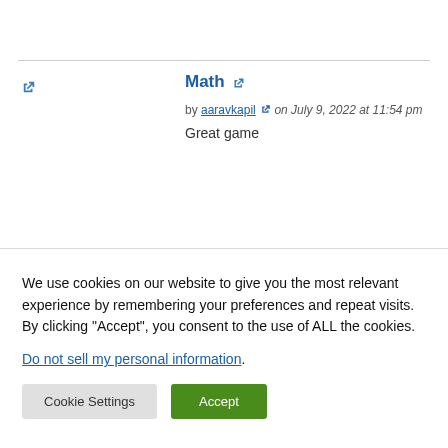🔗 (external link icon)
Math 🔗
by aaravkapil 🔗 on July 9, 2022 at 11:54 pm
Great game
We use cookies on our website to give you the most relevant experience by remembering your preferences and repeat visits. By clicking "Accept", you consent to the use of ALL the cookies.
Do not sell my personal information.
Cookie Settings  Accept